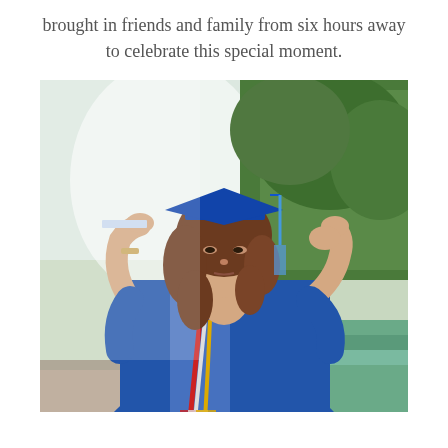brought in friends and family from six hours away to celebrate this special moment.
[Figure (photo): A young woman in a blue graduation cap and gown adjusting her cap with both hands. She has curly brown hair and is wearing colorful honor cords (red, white, and gold/yellow). She appears to be outdoors near a fountain or water feature with green trees in the background. Her expression is somewhat serious or contemplative.]